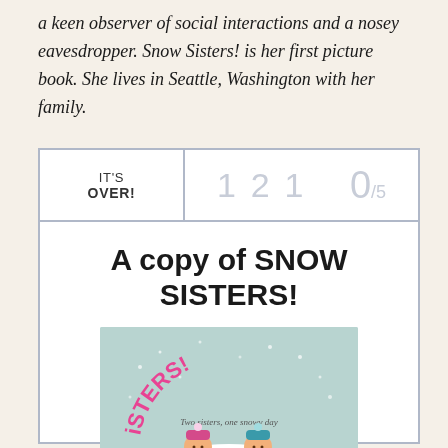a keen observer of social interactions and a nosey eavesdropper. Snow Sisters! is her first picture book. She lives in Seattle, Washington with her family.
| IT'S OVER! | 1 2 1 | 0/5 |
| --- | --- | --- |
A copy of SNOW SISTERS!
[Figure (illustration): Book cover of Snow Sisters! showing two illustrated girls in winter hats against a light blue background with snow, with text 'SNOW SiSTERS! Two sisters, one snowy day']